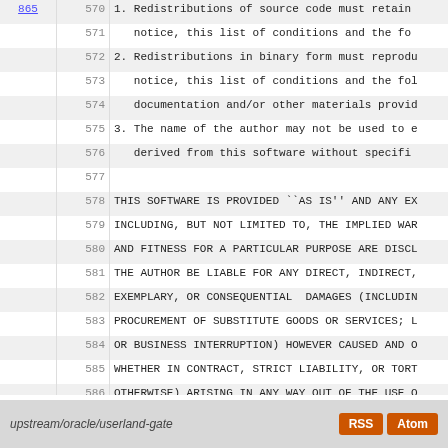865  570  1. Redistributions of source code must retain
571     notice, this list of conditions and the fo
572  2. Redistributions in binary form must reprodu
573     notice, this list of conditions and the fol
574     documentation and/or other materials provid
575  3. The name of the author may not be used to e
576     derived from this software without specifi
577
578  THIS SOFTWARE IS PROVIDED ``AS IS'' AND ANY EX
579  INCLUDING, BUT NOT LIMITED TO, THE IMPLIED WAR
580  AND FITNESS FOR A PARTICULAR PURPOSE ARE DISCL
581  THE AUTHOR BE LIABLE FOR ANY DIRECT, INDIRECT,
582  EXEMPLARY, OR CONSEQUENTIAL  DAMAGES (INCLUDIN
583  PROCUREMENT OF SUBSTITUTE GOODS OR SERVICES; L
584  OR BUSINESS INTERRUPTION) HOWEVER CAUSED AND O
585  WHETHER IN CONTRACT, STRICT LIABILITY, OR TORT
586  OTHERWISE) ARISING IN ANY WAY OUT OF THE USE O
587  ADVISED OF THE POSSIBILITY OF SUCH DAMAGE.
209  588
604  589
upstream/oracle/userland-gate  RSS  Atom